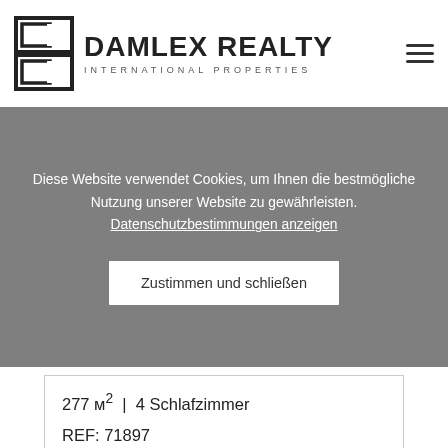DAMLEX REALTY INTERNATIONAL PROPERTIES
Diese Website verwendet Cookies, um Ihnen die bestmögliche Nutzung unserer Website zu gewährleisten. Datenschutzbestimmungen anzeigen
Zustimmen und schließen
277 м² | 4 Schlafzimmer
REF: 71897
950 000 €
[Figure (photo): Partial view of a property listing image with REDUZIERTER PREIS badge overlay]